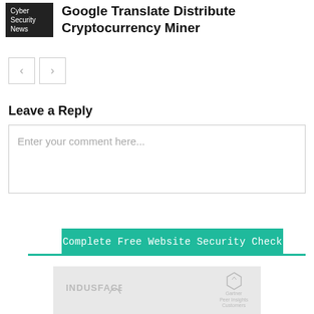Cyber Security News
Google Translate Distribute Cryptocurrency Miner
[Figure (other): Navigation previous and next arrow buttons]
Leave a Reply
Enter your comment here...
[Figure (other): Complete Free Website Security Check teal CTA button with green underline]
[Figure (other): Indusface and Gartner Peer Insights Customers banner]